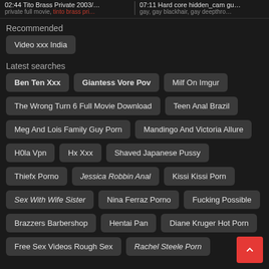02:44 Tito Brass Private 2003/... | 07:11 Hard core hidden_cam gu...
private full movie, tinto brass pri... | gay, gay blackhair, gay deepthro...
Recommended
Video xxx India
Latest searches
Ben Ten Xxx
Giantess Vore Pov
Milf On Imgur
The Wrong Turn 6 Full Movie Download
Teen Anal Brazil
Meg And Lois Family Guy Porn
Mandingo And Victoria Allure
H0la Vpn
Hx Xxx
Shaved Japanese Pussy
Thiefx Porno
Jessica Robbin Anal
Kissi Kissi Porn
Sex With Wife Sister
Nina Ferraz Porno
Fucking Possible
Brazzers Barbershop
Hentai Pan
Diane Kruger Hot Porn
Free Sex Videos Rough Sex
Rachel Steele Porn